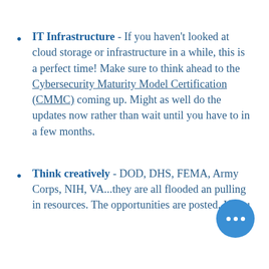IT Infrastructure - If you haven't looked at cloud storage or infrastructure in a while, this is a perfect time! Make sure to think ahead to the Cybersecurity Maturity Model Certification (CMMC) coming up. Might as well do the updates now rather than wait until you have to in a few months.
Think creatively - DOD, DHS, FEMA, Army Corps, NIH, VA...they are all flooded and pulling in resources. The opportunities are posted. If you